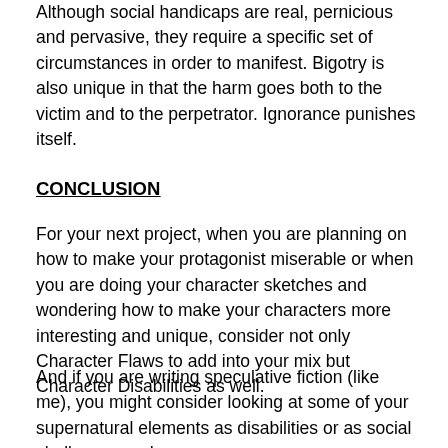Although social handicaps are real, pernicious and pervasive, they require a specific set of circumstances in order to manifest. Bigotry is also unique in that the harm goes both to the victim and to the perpetrator. Ignorance punishes itself.
CONCLUSION
For your next project, when you are planning on how to make your protagonist miserable or when you are doing your character sketches and wondering how to make your characters more interesting and unique, consider not only Character Flaws to add into your mix but Character Disabilities as well.
And if you are writing speculative fiction (like me), you might consider looking at some of your supernatural elements as disabilities or as social challenges and see